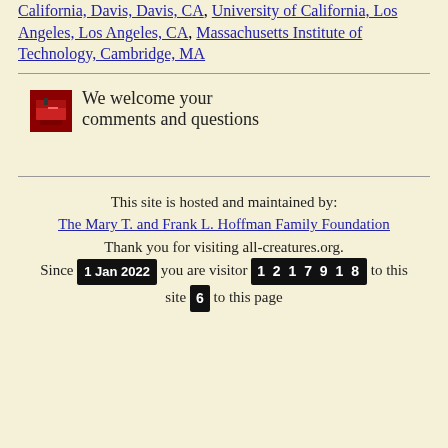California, Davis, Davis, CA, University of California, Los Angeles, Los Angeles, CA, Massachusetts Institute of Technology, Cambridge, MA
We welcome your comments and questions
This site is hosted and maintained by: The Mary T. and Frank L. Hoffman Family Foundation. Thank you for visiting all-creatures.org. Since 1 Jan 2022 you are visitor 1217918 to this site 6 to this page